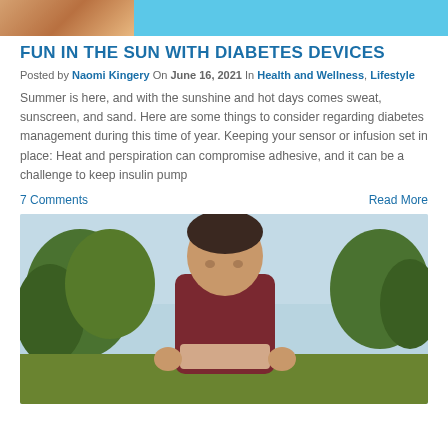[Figure (photo): Top banner image with a photo on the left (warm tones) and a light blue panel on the right]
FUN IN THE SUN WITH DIABETES DEVICES
Posted by Naomi Kingery On June 16, 2021 In Health and Wellness, Lifestyle
Summer is here, and with the sunshine and hot days comes sweat, sunscreen, and sand. Here are some things to consider regarding diabetes management during this time of year. Keeping your sensor or infusion set in place: Heat and perspiration can compromise adhesive, and it can be a challenge to keep insulin pump
7 Comments
Read More
[Figure (photo): A young boy in a dark red/maroon t-shirt looking down, lifting his shirt, outdoors with trees and sky in background]